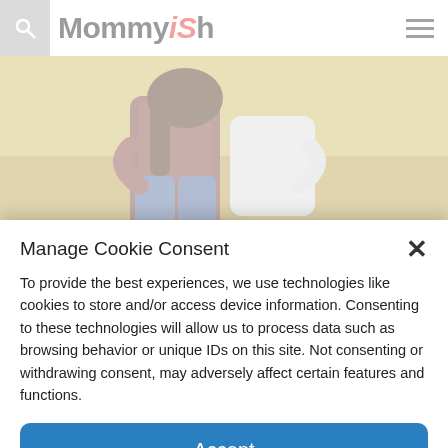Mommyish
[Figure (photo): Outdoor photo of two people hugging, one wearing a dark floral top and jeans, the other in a white shirt, kneeling on grassy ground with sunlight and shadows]
Manage Cookie Consent
To provide the best experiences, we use technologies like cookies to store and/or access device information. Consenting to these technologies will allow us to process data such as browsing behavior or unique IDs on this site. Not consenting or withdrawing consent, may adversely affect certain features and functions.
Accept
Privacy